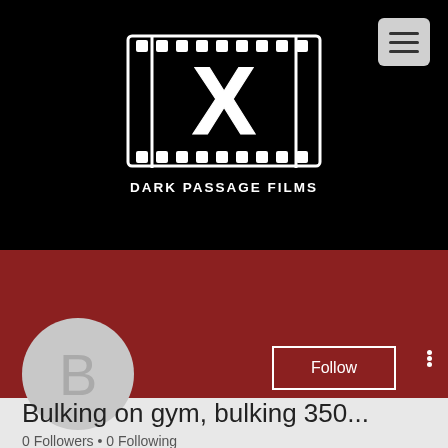[Figure (logo): Dark Passage Films logo — film strip graphic with large X in the center on black background, with text DARK PASSAGE FILMS below]
Follow
Bulking on gym, bulking 350...
0 Followers • 0 Following